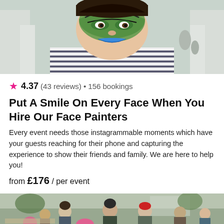[Figure (photo): Child with colorful face paint (green and blue design) wearing a striped shirt, photographed outdoors in what appears to be a shopping area or market]
4.37 (43 reviews) • 156 bookings
Put A Smile On Every Face When You Hire Our Face Painters
Every event needs those instagrammable moments which have your guests reaching for their phone and capturing the experience to show their friends and family. We are here to help you!
from £176 / per event
[Figure (photo): Outdoor event crowd scene with people gathered around, one person wearing a red cap, colorful balloons visible]